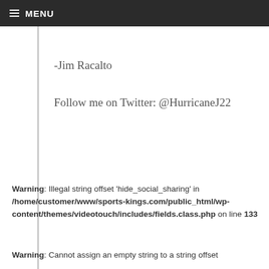≡ MENU
-Jim Racalto
Follow me on Twitter: @HurricaneJ22
Warning: Illegal string offset 'hide_social_sharing' in /home/customer/www/sports-kings.com/public_html/wp-content/themes/videotouch/includes/fields.class.php on line 133
Warning: Cannot assign an empty string to a string offset